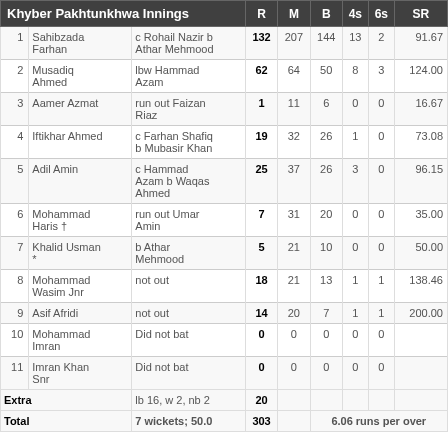| # | Batsman | Dismissal | R | M | B | 4s | 6s | SR |
| --- | --- | --- | --- | --- | --- | --- | --- | --- |
| 1 | Sahibzada Farhan | c Rohail Nazir b Athar Mehmood | 132 | 207 | 144 | 13 | 2 | 91.67 |
| 2 | Musadiq Ahmed | lbw Hammad Azam | 62 | 64 | 50 | 8 | 3 | 124.00 |
| 3 | Aamer Azmat | run out Faizan Riaz | 1 | 11 | 6 | 0 | 0 | 16.67 |
| 4 | Iftikhar Ahmed | c Farhan Shafiq b Mubasir Khan | 19 | 32 | 26 | 1 | 0 | 73.08 |
| 5 | Adil Amin | c Hammad Azam b Waqas Ahmed | 25 | 37 | 26 | 3 | 0 | 96.15 |
| 6 | Mohammad Haris † | run out Umar Amin | 7 | 31 | 20 | 0 | 0 | 35.00 |
| 7 | Khalid Usman * | b Athar Mehmood | 5 | 21 | 10 | 0 | 0 | 50.00 |
| 8 | Mohammad Wasim Jnr | not out | 18 | 21 | 13 | 1 | 1 | 138.46 |
| 9 | Asif Afridi | not out | 14 | 20 | 7 | 1 | 1 | 200.00 |
| 10 | Mohammad Imran | Did not bat | 0 | 0 | 0 | 0 | 0 |  |
| 11 | Imran Khan Snr | Did not bat | 0 | 0 | 0 | 0 | 0 |  |